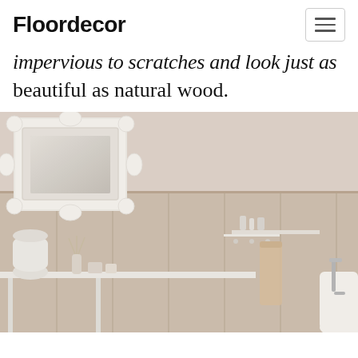Floordecor
impervious to scratches and look just as beautiful as natural wood.
[Figure (photo): A serene bathroom interior with light wood-panel walls, a white ornate baroque-style mirror, white vanity with decorative items, a towel on a hook, and a freestanding bathtub with chrome fixtures. Soft neutral beige and cream tones throughout.]